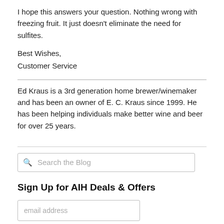I hope this answers your question. Nothing wrong with freezing fruit. It just doesn't eliminate the need for sulfites.
Best Wishes,
Customer Service
Ed Kraus is a 3rd generation home brewer/winemaker and has been an owner of E. C. Kraus since 1999. He has been helping individuals make better wine and beer for over 25 years.
Search the Blog
Sign Up for AIH Deals & Offers
email address
Subscribe